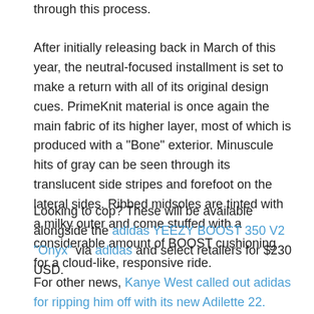through this process.
After initially releasing back in March of this year, the neutral-focused installment is set to make a return with all of its original design cues. PrimeKnit material is once again the main fabric of its higher layer, most of which is produced with a "Bone" exterior. Minuscule hits of gray can be seen through its translucent side stripes and forefoot on the lateral sides. Ribbed midsoles are tinted with a milky outer and come stuffed with a considerable amount of BOOST cushioning for a cloud-like, responsive ride.
Looking to cop? These will be available alongside the adidas YEEZY BOOST 350 V2 "Onyx" via adidas and select retailers for $230 USD.
For other news, Kanye West called out adidas for ripping him off with its new Adilette 22.